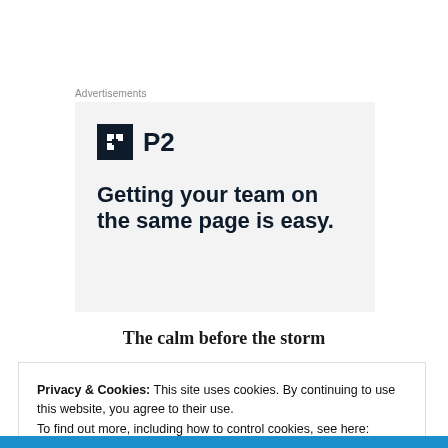Advertisements
[Figure (illustration): Advertisement banner for P2 product with logo icon and headline 'Getting your team on the same page is easy.']
The calm before the storm
Privacy & Cookies: This site uses cookies. By continuing to use this website, you agree to their use.
To find out more, including how to control cookies, see here: Cookie Policy
Close and accept